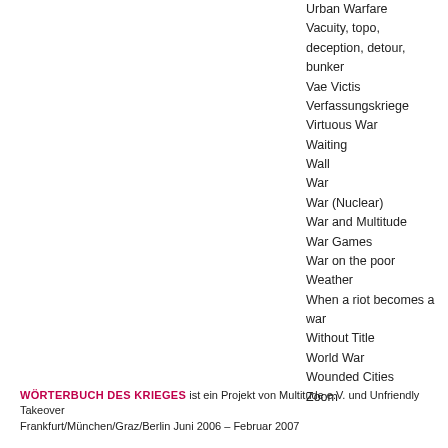Urban Warfare
Vacuity, topo, deception, detour, bunker
Vae Victis
Verfassungskriege
Virtuous War
Waiting
Wall
War
War (Nuclear)
War and Multitude
War Games
War on the poor
Weather
When a riot becomes a war
Without Title
World War
Wounded Cities
Zoom
WÖRTERBUCH DES KRIEGES ist ein Projekt von Multitude e.V. und Unfriendly Takeover Frankfurt/München/Graz/Berlin Juni 2006 – Februar 2007